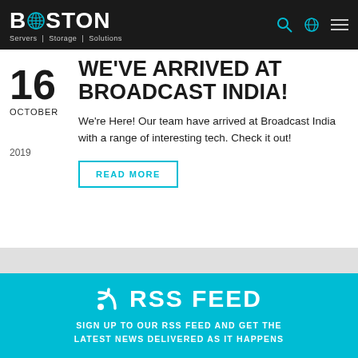BOSTON Servers | Storage | Solutions
WE'VE ARRIVED AT BROADCAST INDIA!
16 OCTOBER 2019
We're Here! Our team have arrived at Broadcast India with a range of interesting tech. Check it out!
READ MORE
RSS FEED
SIGN UP TO OUR RSS FEED AND GET THE LATEST NEWS DELIVERED AS IT HAPPENS